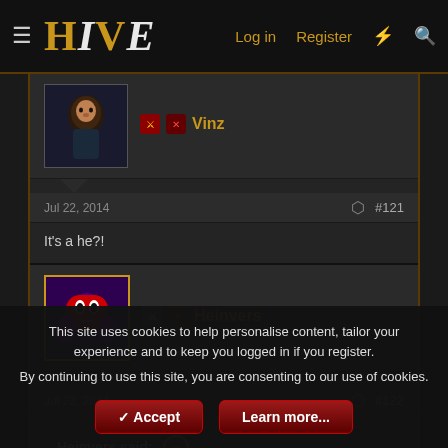HIVE — Log in  Register
Vinz
Jul 22, 2014  #121
It's a he?!
Heinvers
Jul 22, 2014  #122
Heinvers said: →
This site uses cookies to help personalise content, tailor your experience and to keep you logged in if you register.
By continuing to use this site, you are consenting to our use of cookies.